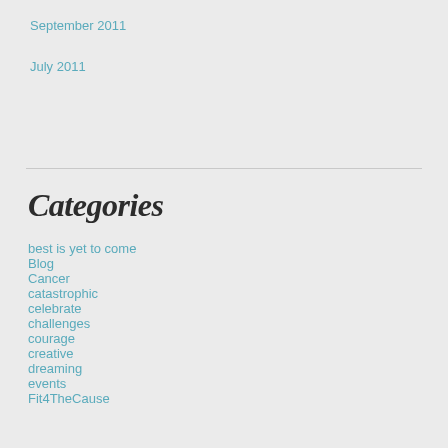September 2011
July 2011
Categories
best is yet to come
Blog
Cancer
catastrophic
celebrate
challenges
courage
creative
dreaming
events
Fit4TheCause